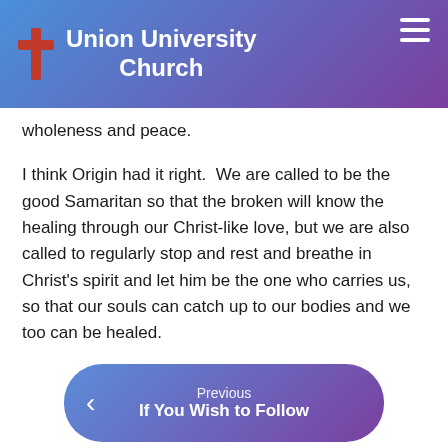Union University Church
wholeness and peace.
I think Origin had it right.  We are called to be the good Samaritan so that the broken will know the healing through our Christ-like love, but we are also called to regularly stop and rest and breathe in Christ's spirit and let him be the one who carries us, so that our souls can catch up to our bodies and we too can be healed.
[1] Though this is attributed to St. Patrick in the 5th century, many experts doubt that authorship and trace it to an 8th century collection of prayers.
Previous
If You Wish to Follow